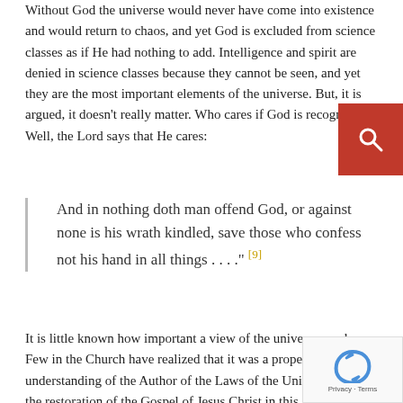Without God the universe would never have come into existence and would return to chaos, and yet God is excluded from science classes as if He had nothing to add. Intelligence and spirit are denied in science classes because they cannot be seen, and yet they are the most important elements of the universe. But, it is argued, it doesn't really matter. Who cares if God is recognized? Well, the Lord says that He cares:
And in nothing doth man offend God, or against none is his wrath kindled, save those who confess not his hand in all things . . . ." [9]
It is little known how important a view of the universe can be. Few in the Church have realized that it was a proper understanding of the Author of the Laws of the Universe led to the restoration of the Gospel of Jesus Christ in this dispensation. Joseph Smith stated his reasons for entering